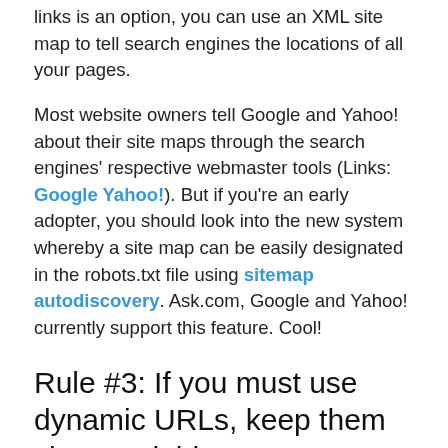links is an option, you can use an XML site map to tell search engines the locations of all your pages.
Most website owners tell Google and Yahoo! about their site maps through the search engines' respective webmaster tools (Links: Google Yahoo!). But if you're an early adopter, you should look into the new system whereby a site map can be easily designated in the robots.txt file using sitemap autodiscovery. Ask.com, Google and Yahoo! currently support this feature. Cool!
Rule #3: If you must use dynamic URLs, keep them short and tidy
Another potential problem – and this is one that is subject to some debate – is with dynamic pages that have too many parameters in the URL. Google